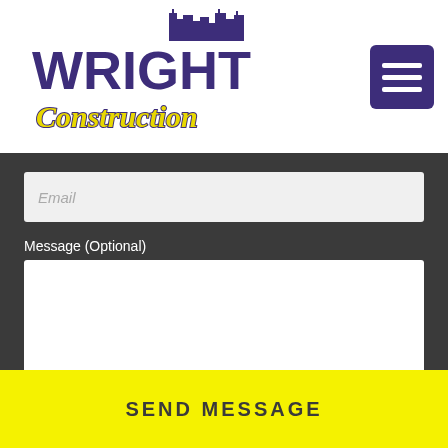[Figure (logo): Wright Construction company logo with city skyline silhouette. 'WRIGHT' in large bold purple/dark blue letters with white outline, 'Construction' in yellow cursive script below, city buildings graphic above.]
[Figure (screenshot): Dark purple square menu button with three white horizontal bars (hamburger menu icon)]
Email
Message (Optional)
SEND MESSAGE